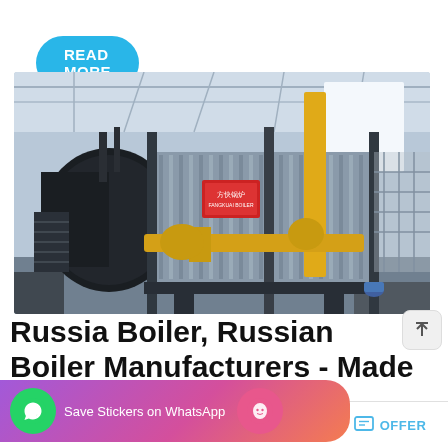READ MORE
[Figure (photo): Industrial gas boiler (Russia boiler) in a factory/warehouse setting, showing a large cylindrical boiler body in black on the left, a corrugated metal enclosure in the center-right, and prominent yellow gas pipes/fittings in the foreground. Chinese text on a sign on the equipment. Industrial steel structure and stairs visible.]
Russia Boiler, Russian Boiler Manufacturers - Made in Russia
Save Stickers on WhatsApp
ndustrial  LNG  CNG  LPG  Gas  Oil
MAIL   ADVISORY   OFFER